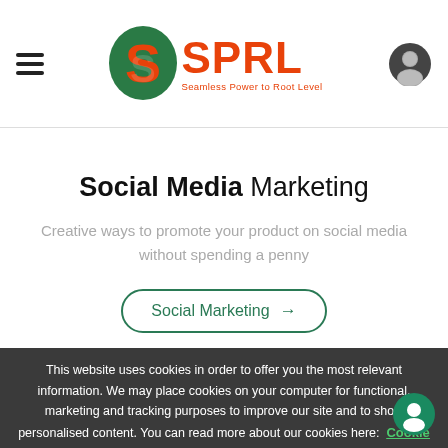[Figure (logo): SPRL logo with green S icon and orange SPRL text, tagline Seamless Power to Root Level]
Social Media Marketing
Creative ways to promote your product on social media without spending a penny
Social Marketing →
This website uses cookies in order to offer you the most relevant information. We may place cookies on your computer for functional, marketing and tracking purposes to improve our site and to show personalised content. You can read more about our cookies here: Cookie Policy . Please accept cookies for optimal performance.
Yes, I accept Cookies.